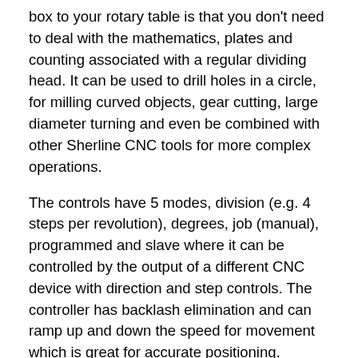box to your rotary table is that you don't need to deal with the mathematics, plates and counting associated with a regular dividing head. It can be used to drill holes in a circle, for milling curved objects, gear cutting, large diameter turning and even be combined with other Sherline CNC tools for more complex operations.
The controls have 5 modes, division (e.g. 4 steps per revolution), degrees, job (manual), programmed and slave where it can be controlled by the output of a different CNC device with direction and step controls. The controller has backlash elimination and can ramp up and down the speed for movement which is great for accurate positioning.
The table is priced at $725 which although quite expensive by my standards is still within the range of an average hobbyist. The manual is comprehensive and gives instructions for someone unfamiliar with a rotary table, a mounting diagram and a nice exploded picture of the table